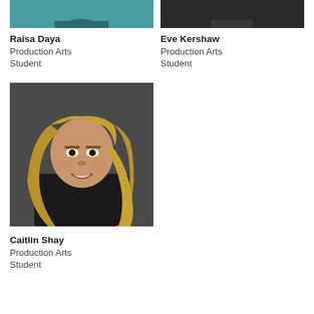[Figure (photo): Partial top photo of Raisa Daya, cropped at top, teal/turquoise top visible]
Raisa Daya
Production Arts Student
[Figure (photo): Partial top photo of Eve Kershaw, cropped at top, dark background]
Eve Kershaw
Production Arts Student
[Figure (photo): Portrait photo of Caitlin Shay, young woman with long blonde hair, smiling, wearing black top, dark grey background]
Caitlin Shay
Production Arts Student